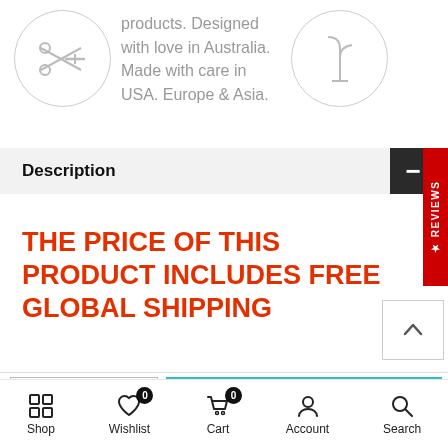products. Designed with love in Australia. Made with care in USA. Europe & Asia.
Description
THE PRICE OF THIS PRODUCT INCLUDES FREE GLOBAL SHIPPING